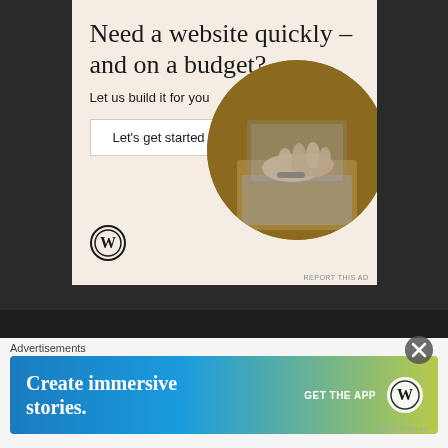[Figure (infographic): WordPress advertisement: 'Need a website quickly – and on a budget? Let us build it for you' with a 'Let's get started' button, WordPress logo, and circular photo of person typing on laptop]
REPORT THIS AD
© Copyright 2022, All Rights Reserved Skeer News
Privacy Policy    ABN – 83207319573
[Figure (infographic): Social media icons: Facebook, Twitter, YouTube, Instagram]
Advertisements
[Figure (infographic): WordPress banner ad: 'Create immersive stories.' with 'GET THE APP' button and WordPress logo on gradient blue-green background]